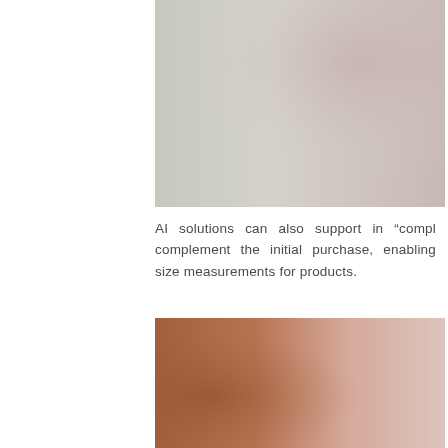[Figure (photo): Blurred abstract photo with light sage green on the left blending into dusty rose/mauve on the right, cropped at top of page.]
AI solutions can also support in "compl complement the initial purchase, enabling size measurements for products.
Findmine
[Figure (photo): Blurred abstract photo with warm terracotta/brown tones on the left blending into soft blush pink on the right, at bottom of page.]